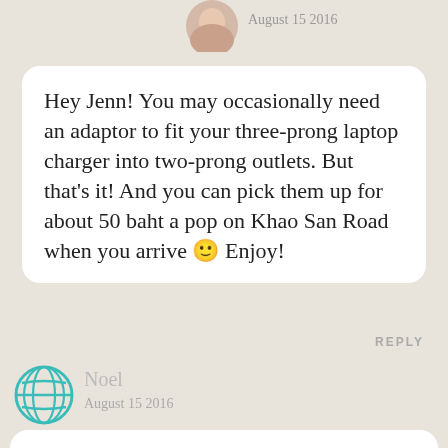[Figure (photo): Circular avatar photo of a woman, partially visible at top]
August 15 2016
Hey Jenn! You may occasionally need an adaptor to fit your three-prong laptop charger into two-prong outlets. But that’s it! And you can pick them up for about 50 baht a pop on Khao San Road when you arrive 🙂 Enjoy!
REPLY
[Figure (illustration): Teal globe/world icon used as avatar]
Noel
August 15 2016
Wow, what a great post, thank you for sharing! If I make it back to Thailand, would love to tackle